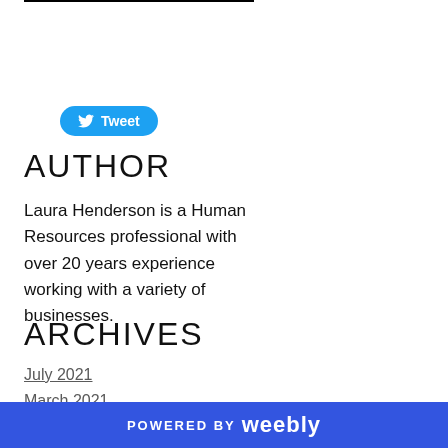[Figure (other): Twitter Tweet button — blue rounded pill button with Twitter bird icon and text 'Tweet']
AUTHOR
Laura Henderson is a Human Resources professional with over 20 years experience working with a variety of businesses.
ARCHIVES
July 2021
March 2021
October 2020
POWERED BY weebly